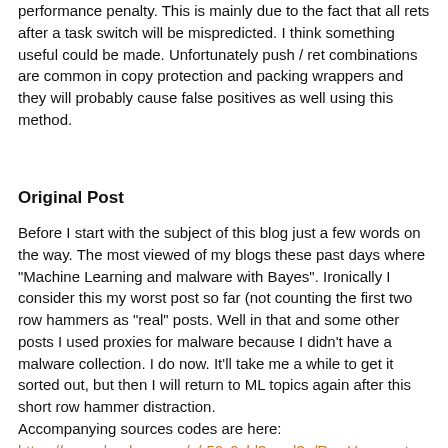performance penalty. This is mainly due to the fact that all rets after a task switch will be mispredicted. I think something useful could be made. Unfortunately push / ret combinations are common in copy protection and packing wrappers and they will probably cause false positives as well using this method.
Original Post
Before I start with the subject of this blog just a few words on the way. The most viewed of my blogs these past days where "Machine Learning and malware with Bayes". Ironically I consider this my worst post so far (not counting the first two row hammers as "real" posts. Well in that and some other posts I used proxies for malware because I didn't have a malware collection. I do now. It'll take me a while to get it sorted out, but then I will return to ML topics again after this short row hammer distraction.
Accompanying sources codes are here:
https://www.dropbox.com/s/r50v9zld3zawl3n/RowHammerte